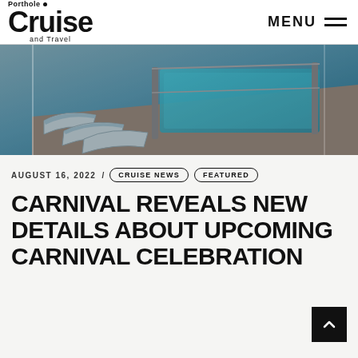Porthole Cruise and Travel — MENU
[Figure (photo): Luxury cruise ship deck with lounge chairs and a pool/hot tub area, viewed from above at an angle]
AUGUST 16, 2022 / CRUISE NEWS FEATURED
CARNIVAL REVEALS NEW DETAILS ABOUT UPCOMING CARNIVAL CELEBRATION